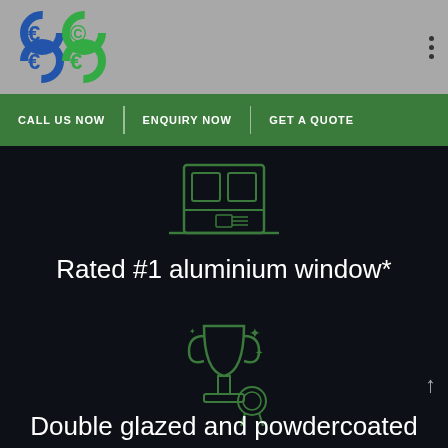[Figure (logo): Eco logo with blue and green interconnected circle letters spelling ECO ECO in a 2x2 grid arrangement]
CALL US NOW   ENQUIRY NOW   GET A QUOTE
[Figure (illustration): Green outline icon of a window/door product on dark background]
Rated #1 aluminium window*
[Figure (illustration): Green outline icon of a trophy with award ribbon and sparkles on dark background]
Double glazed and powdercoated